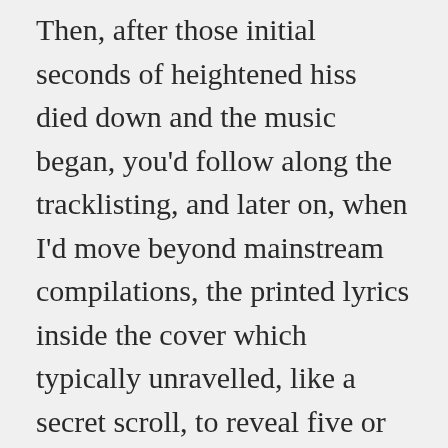Then, after those initial seconds of heightened hiss died down and the music began, you'd follow along the tracklisting, and later on, when I'd move beyond mainstream compilations, the printed lyrics inside the cover which typically unravelled, like a secret scroll, to reveal five or six panels of lyrics, band photos, artwork and more.